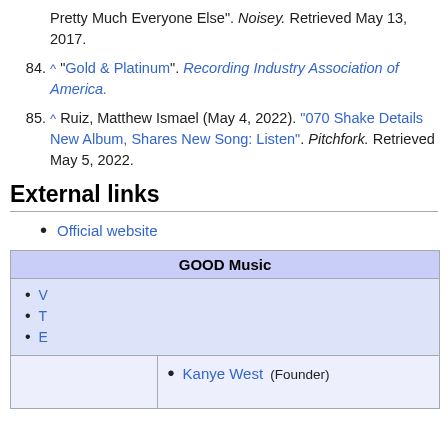Pretty Much Everyone Else". Noisey. Retrieved May 13, 2017.
84. ^ "Gold & Platinum". Recording Industry Association of America.
85. ^ Ruiz, Matthew Ismael (May 4, 2022). "070 Shake Details New Album, Shares New Song: Listen". Pitchfork. Retrieved May 5, 2022.
External links
Official website
| GOOD Music |
| --- |
| V |
| T |
| E |
Kanye West (Founder)